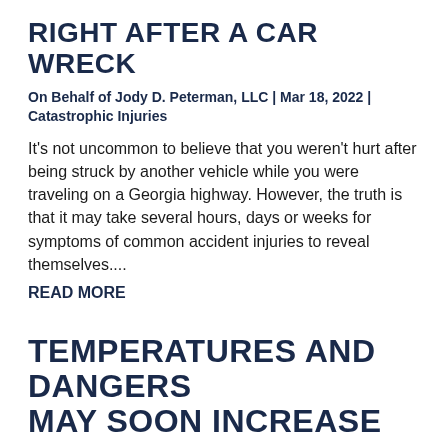RIGHT AFTER A CAR WRECK
On Behalf of Jody D. Peterman, LLC | Mar 18, 2022 | Catastrophic Injuries
It's not uncommon to believe that you weren't hurt after being struck by another vehicle while you were traveling on a Georgia highway. However, the truth is that it may take several hours, days or weeks for symptoms of common accident injuries to reveal themselves....
READ MORE
TEMPERATURES AND DANGERS MAY SOON INCREASE
On Behalf of Jody D. Peterman, LLC | Feb 17, 2022 | Catastrophic Injuries
Heat rises when the summer season arrives, and some years could be hotter than previous ones. A powerful